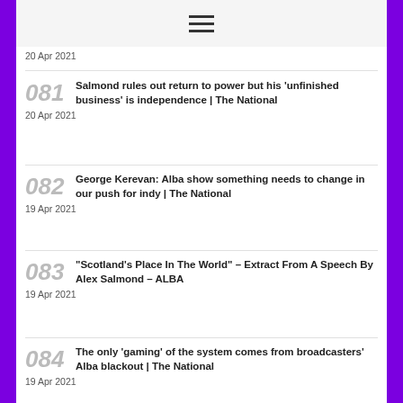≡
20 Apr 2021
081 Salmond rules out return to power but his 'unfinished business' is independence | The National
20 Apr 2021
082 George Kerevan: Alba show something needs to change in our push for indy | The National
19 Apr 2021
083 "Scotland's Place In The World" – Extract From A Speech By Alex Salmond – ALBA
19 Apr 2021
084 The only 'gaming' of the system comes from broadcasters' Alba blackout | The National
19 Apr 2021